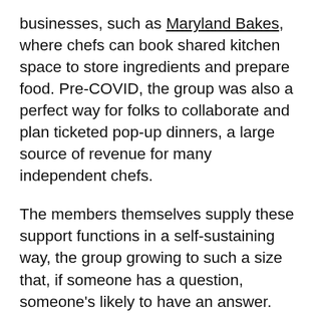businesses, such as Maryland Bakes, where chefs can book shared kitchen space to store ingredients and prepare food. Pre-COVID, the group was also a perfect way for folks to collaborate and plan ticketed pop-up dinners, a large source of revenue for many independent chefs.
The members themselves supply these support functions in a self-sustaining way, the group growing to such a size that, if someone has a question, someone's likely to have an answer. Job opportunities also continually come up. This momentum makes it less necessary for Spear to actively manage and feed the group; it also makes it less necessary for Chefs Without Restaurants, the podcast he started in late 2019, to provide those